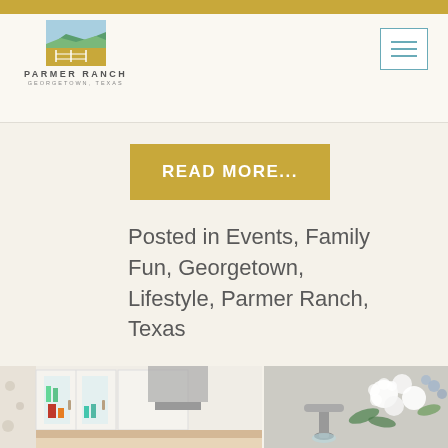Parmer Ranch - Georgetown, Texas
READ MORE...
Posted in Events, Family Fun, Georgetown, Lifestyle, Parmer Ranch, Texas
1
2
»
[Figure (photo): Kitchen interior with white cabinets and glass doors showing colorful items inside, ventilation hood above]
[Figure (photo): Close-up of white flowers with green leaves near a faucet on a grey surface]